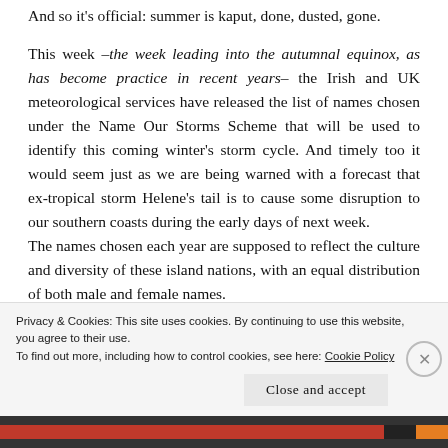And so it's official: summer is kaput, done, dusted, gone.
This week –the week leading into the autumnal equinox, as has become practice in recent years– the Irish and UK meteorological services have released the list of names chosen under the Name Our Storms Scheme that will be used to identify this coming winter's storm cycle. And timely too it would seem just as we are being warned with a forecast that ex-tropical storm Helene's tail is to cause some disruption to our southern coasts during the early days of next week.
The names chosen each year are supposed to reflect the culture and diversity of these island nations, with an equal distribution of both male and female names.
Privacy & Cookies: This site uses cookies. By continuing to use this website, you agree to their use.
To find out more, including how to control cookies, see here: Cookie Policy
Close and accept